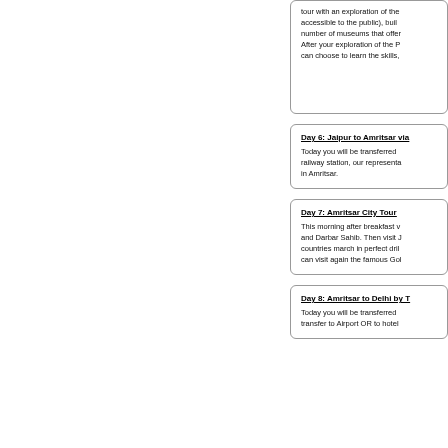tour with an exploration of the (accessible to the public), buil number of museums that offer After your exploration of the P can choose to learn the skills,
Day 6: Jaipur to Amritsar via
Today you will be transferred railway station, our representa in Amritsar.
Day 7: Amritsar City Tour
This morning after breakfast v and Darbar Sahib. Then visit J countries march in perfect dril can visit again the famous Gol
Day 8: Amritsar to Delhi by T
Today you will be transferred transfer to Airport OR to hotel